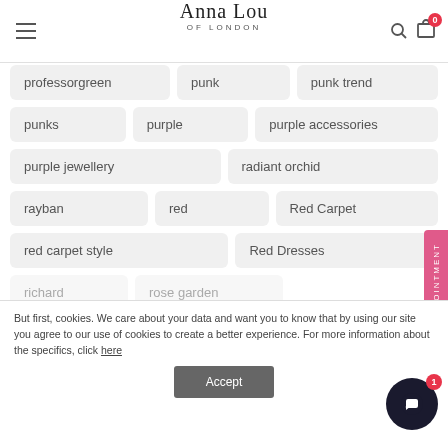Anna Lou of London
professorgreen
punk
punk trend
punks
purple
purple accessories
purple jewellery
radiant orchid
rayban
red
Red Carpet
red carpet style
Red Dresses
But first, cookies. We care about your data and want you to know that by using our site you agree to our use of cookies to create a better experience. For more information about the specifics, click here
Accept